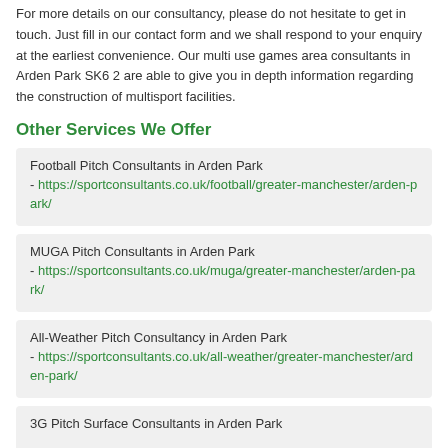For more details on our consultancy, please do not hesitate to get in touch. Just fill in our contact form and we shall respond to your enquiry at the earliest convenience. Our multi use games area consultants in Arden Park SK6 2 are able to give you in depth information regarding the construction of multisport facilities.
Other Services We Offer
Football Pitch Consultants in Arden Park - https://sportconsultants.co.uk/football/greater-manchester/arden-park/
MUGA Pitch Consultants in Arden Park - https://sportconsultants.co.uk/muga/greater-manchester/arden-park/
All-Weather Pitch Consultancy in Arden Park - https://sportconsultants.co.uk/all-weather/greater-manchester/arden-park/
3G Pitch Surface Consultants in Arden Park